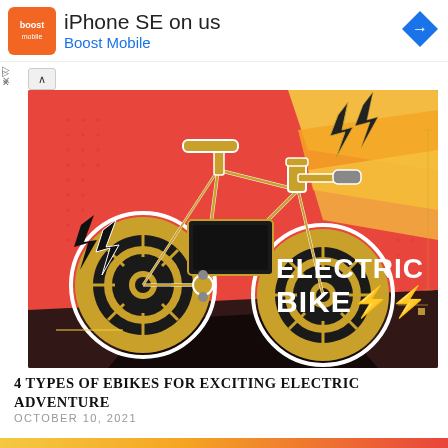[Figure (advertisement): Boost Mobile ad banner with orange logo, 'iPhone SE on us' text, 'Boost Mobile' in blue, and a blue diamond-shaped arrow icon on the right]
[Figure (illustration): Stylized red background illustration of an electric bicycle with golden/yellow outline details, lightning bolt icons, and 'ELECTRIC BIKE⚡⚡' text on the right side]
4 TYPES OF EBIKES FOR EXCITING ELECTRIC ADVENTURE
OCTOBER 10, 2021